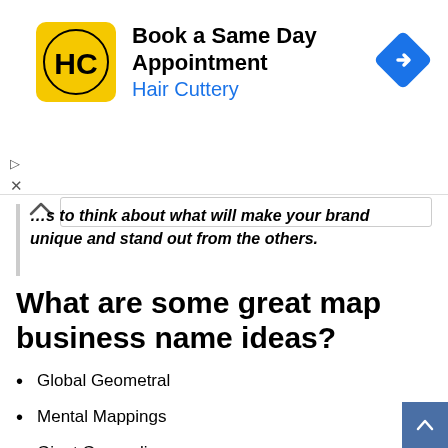[Figure (logo): Hair Cuttery advertisement banner with yellow logo, 'Book a Same Day Appointment' title, 'Hair Cuttery' subtitle in blue, and a blue navigation arrow icon on the right]
…s to think about what will make your brand unique and stand out from the others.
What are some great map business name ideas?
Global Geometral
Mental Mappings
Giant Geocyclic
Prominent Position Group
Basement Location
The Equivalent